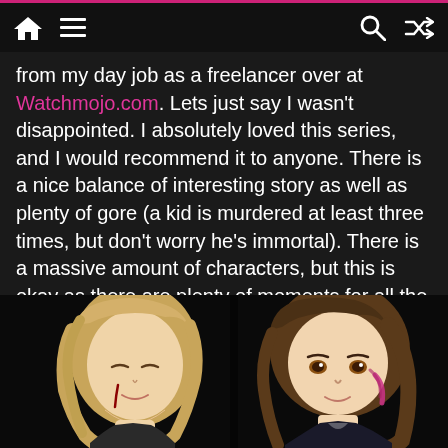Navigation bar with home, menu, search, and shuffle icons
from my day job as a freelancer over at Watchmojo.com. Lets just say I wasn't disappointed. I absolutely loved this series, and I would recommend it to anyone. There is a nice balance of interesting story as well as plenty of gore (a kid is murdered at least three times, but don't worry he's immortal). There is a massive amount of characters, but this is okay as there are plenty of moments for all the characters to expand and grow. I am not even going to mention the comedy. I was laughing constantly.
[Figure (illustration): Anime screenshot showing two characters with light brown/blonde hair against a dark background]